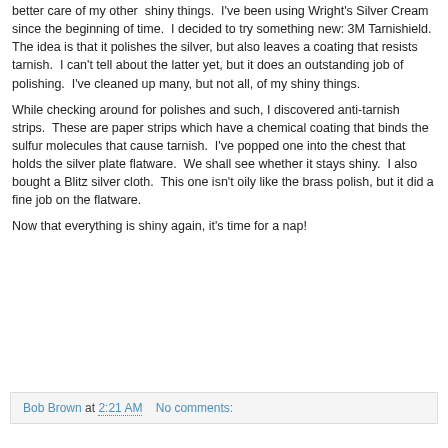better care of my other shiny things. I've been using Wright's Silver Cream since the beginning of time. I decided to try something new: 3M Tarnishield. The idea is that it polishes the silver, but also leaves a coating that resists tarnish. I can't tell about the latter yet, but it does an outstanding job of polishing. I've cleaned up many, but not all, of my shiny things.
While checking around for polishes and such, I discovered anti-tarnish strips. These are paper strips which have a chemical coating that binds the sulfur molecules that cause tarnish. I've popped one into the chest that holds the silver plate flatware. We shall see whether it stays shiny. I also bought a Blitz silver cloth. This one isn't oily like the brass polish, but it did a fine job on the flatware.
Now that everything is shiny again, it's time for a nap!
Bob Brown at 2:21 AM   No comments: